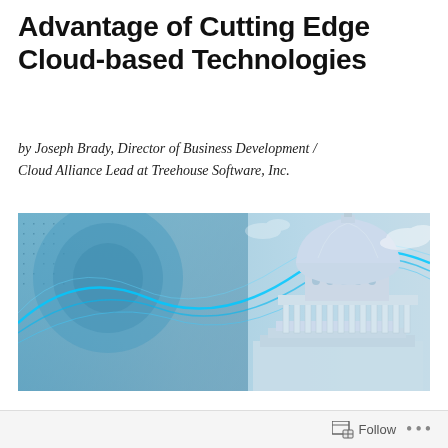Advantage of Cutting Edge Cloud-based Technologies
by Joseph Brady, Director of Business Development / Cloud Alliance Lead at Treehouse Software, Inc.
[Figure (photo): Composite image of the US Capitol building on the right with a blue digital/technology abstract wave overlay on the left, suggesting government and cloud technology.]
Many government agencies have large volumes of mission critical and historical data stored in a variety of legacy mainframe databases (for this blog, we are focusing on Adabas). These government agencies